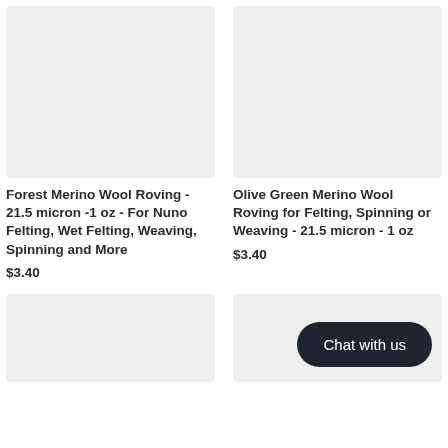[Figure (photo): Forest Merino Wool Roving product image placeholder - light gray rectangle]
[Figure (photo): Olive Green Merino Wool Roving product image placeholder - light gray rectangle]
Forest Merino Wool Roving - 21.5 micron -1 oz - For Nuno Felting, Wet Felting, Weaving, Spinning and More
$3.40
Olive Green Merino Wool Roving for Felting, Spinning or Weaving - 21.5 micron - 1 oz
$3.40
[Figure (photo): Third product image placeholder - light gray rectangle]
[Figure (photo): Fourth product area with Chat with us button overlay]
Chat with us